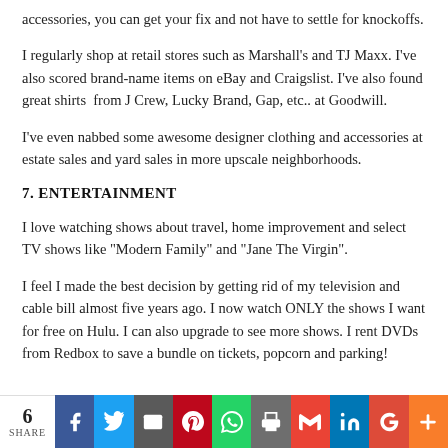accessories, you can get your fix and not have to settle for knockoffs.
I regularly shop at retail stores such as Marshall's and TJ Maxx. I've also scored brand-name items on eBay and Craigslist. I've also found great shirts  from J Crew, Lucky Brand, Gap, etc.. at Goodwill.
I've even nabbed some awesome designer clothing and accessories at estate sales and yard sales in more upscale neighborhoods.
7. ENTERTAINMENT
I love watching shows about travel, home improvement and select TV shows like "Modern Family" and "Jane The Virgin".
I feel I made the best decision by getting rid of my television and cable bill almost five years ago. I now watch ONLY the shows I want for free on Hulu. I can also upgrade to see more shows. I rent DVDs from Redbox to save a bundle on tickets, popcorn and parking!
6 SHARE | Social share bar: Facebook, Twitter, Email, Pinterest, WhatsApp, Print, Gmail, LinkedIn, Google+, More